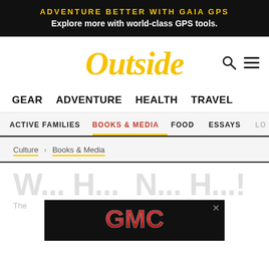ADVENTURE BETTER WITH GAIA GPS
Explore more with world-class GPS tools.
Outside
GEAR   ADVENTURE   HEALTH   TRAVEL
ACTIVE FAMILIES   BOOKS & MEDIA   FOOD   ESSAYS   LO...
Culture > Books & Media
[Figure (logo): GMC logo advertisement on black background]
W... H... N... H...!
The...